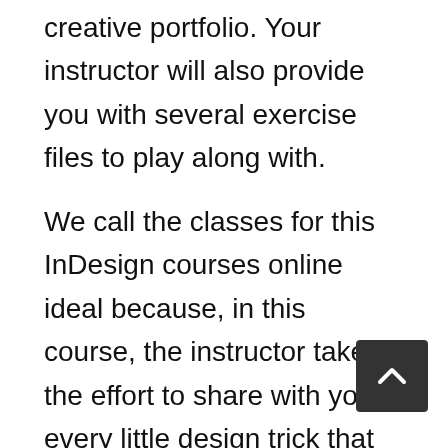creative portfolio. Your instructor will also provide you with several exercise files to play along with.
We call the classes for this InDesign courses online ideal because, in this course, the instructor takes the effort to share with you every little design trick that he has learned in his past fifteen years of designing. His goal is to help you finish the course will all the vital skills to make beautiful documents using Adobe InDesign CC.